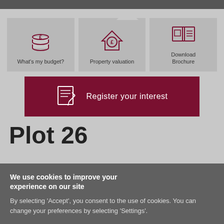[Figure (infographic): Three action cards: 'What's my budget?' with coin/pound icon, 'Property valuation' with house/pound icon, 'Download Brochure' with book icon]
[Figure (infographic): Dark red 'Register your interest' button with form/pencil icon]
Plot 26
We use cookies to improve your experience on our site By selecting 'Accept', you consent to the use of cookies. You can change your preferences by selecting 'Settings'.